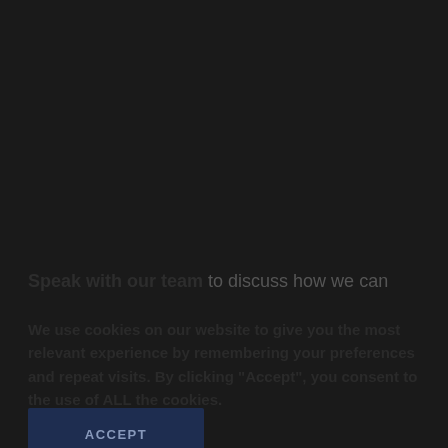Speak with our team to discuss how we can
We use cookies on our website to give you the most relevant experience by remembering your preferences and repeat visits. By clicking "Accept", you consent to the use of ALL the cookies.
ACCEPT